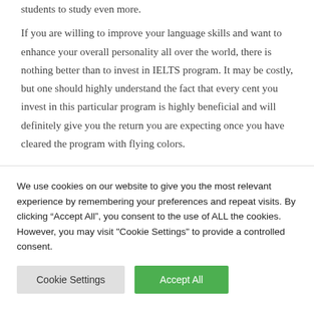students to study even more.
If you are willing to improve your language skills and want to enhance your overall personality all over the world, there is nothing better than to invest in IELTS program. It may be costly, but one should highly understand the fact that every cent you invest in this particular program is highly beneficial and will definitely give you the return you are expecting once you have cleared the program with flying colors.
We use cookies on our website to give you the most relevant experience by remembering your preferences and repeat visits. By clicking “Accept All”, you consent to the use of ALL the cookies. However, you may visit "Cookie Settings" to provide a controlled consent.
Cookie Settings | Accept All